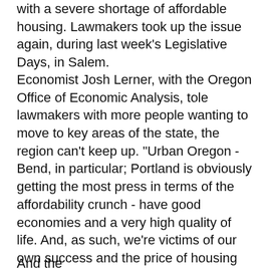with a severe shortage of affordable housing. Lawmakers took up the issue again, during last week's Legislative Days, in Salem.
Economist Josh Lerner, with the Oregon Office of Economic Analysis, tole lawmakers with more people wanting to move to key areas of the state, the region can't keep up. "Urban Oregon - Bend, in particular; Portland is obviously getting the most press in terms of the affordability crunch - have good economies and a very high quality of life. And, as such, we're victims of our own success and the price of housing gets bid up, particularly when we're supply constrained and do not have enough supply on the overall market. So, your affordability erodes because the demand is so high to live in a place that's a great place to live and has a good economy."
And the process has